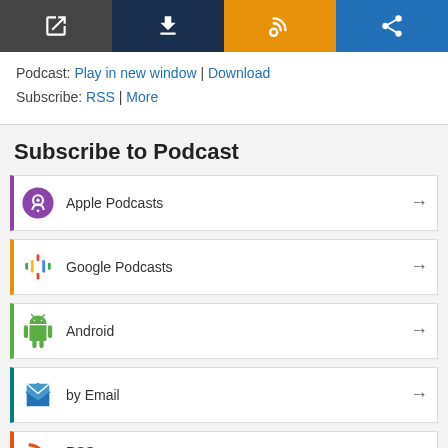[Figure (infographic): Podcast player control icon bar with four colored buttons: dark gray (external link icon), navy (download icon), orange (RSS/feed icon), blue (share icon)]
Podcast: Play in new window | Download
Subscribe: RSS | More
Subscribe to Podcast
Apple Podcasts
Google Podcasts
Android
by Email
RSS